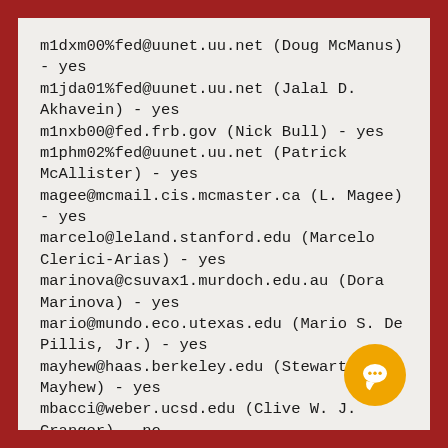m1dxm00%fed@uunet.uu.net (Doug McManus) - yes
m1jda01%fed@uunet.uu.net (Jalal D. Akhavein) - yes
m1nxb00@fed.frb.gov (Nick Bull) - yes
m1phm02%fed@uunet.uu.net (Patrick McAllister) - yes
magee@mcmail.cis.mcmaster.ca (L. Magee) - yes
marcelo@leland.stanford.edu (Marcelo Clerici-Arias) - yes
marinova@csuvax1.murdoch.edu.au (Dora Marinova) - yes
mario@mundo.eco.utexas.edu (Mario S. De Pillis, Jr.) - yes
mayhew@haas.berkeley.edu (Stewart Mayhew) - yes
mbacci@weber.ucsd.edu (Clive W. J. Granger) - no
mbw@u.washington.edu (Michael Ward) - yes
mcafee@mundo.eco.utexas.edu (Preston McAfee) -